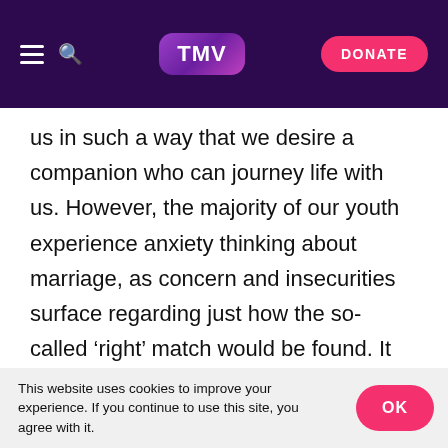TMV | DONATE
us in such a way that we desire a companion who can journey life with us. However, the majority of our youth experience anxiety thinking about marriage, as concern and insecurities surface regarding just how the so-called 'right' match would be found. It can be scary to realise that there is actually no set game plan to finding the right person without stumbling and getting lost on the way. We often forget that the Quran is sufficient for all our woes; just think, that if Allah Himself has declared in Surah Yasin that we are created in 'pairs' [78:8], then why should we fret when our partner has already been
This website uses cookies to improve your experience. If you continue to use this site, you agree with it.